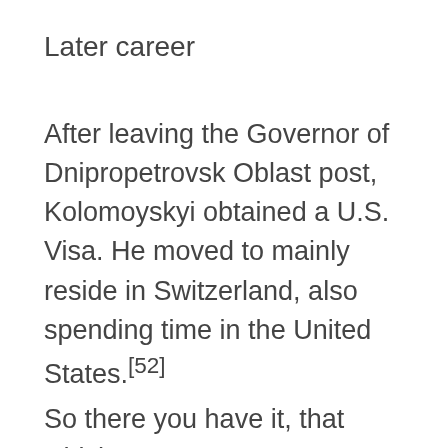Later career
After leaving the Governor of Dnipropetrovsk Oblast post, Kolomoyskyi obtained a U.S. Visa. He moved to mainly reside in Switzerland, also spending time in the United States.[52]
So there you have it, that which